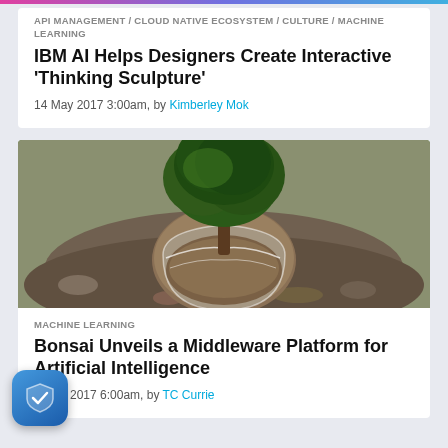API MANAGEMENT / CLOUD NATIVE ECOSYSTEM / CULTURE / MACHINE LEARNING
IBM AI Helps Designers Create Interactive ‘Thinking Sculpture’
14 May 2017 3:00am, by Kimberley Mok
[Figure (photo): A miniature green tree growing out of a glass globe filled with soil, placed on rocky ground]
MACHINE LEARNING
Bonsai Unveils a Middleware Platform for Artificial Intelligence
9 May 2017 6:00am, by TC Currie